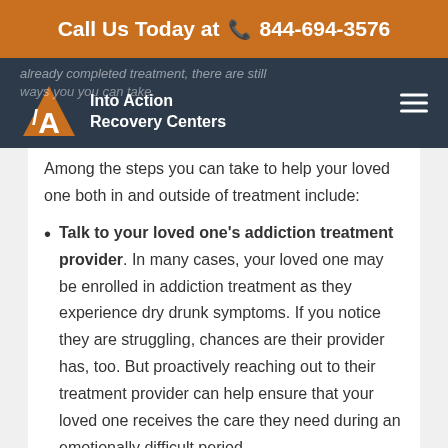Call Us Today at 844-694-3576
[Figure (logo): Into Action Recovery Centers logo with stylized /A/ icon and white text on dark navy background]
already completed treatment, there are still ways you can take. Among the steps you can take to help your loved one both in and outside of treatment include:
Talk to your loved one's addiction treatment provider. In many cases, your loved one may be enrolled in addiction treatment as they experience dry drunk symptoms. If you notice they are struggling, chances are their provider has, too. But proactively reaching out to their treatment provider can help ensure that your loved one receives the care they need during an emotionally difficult period